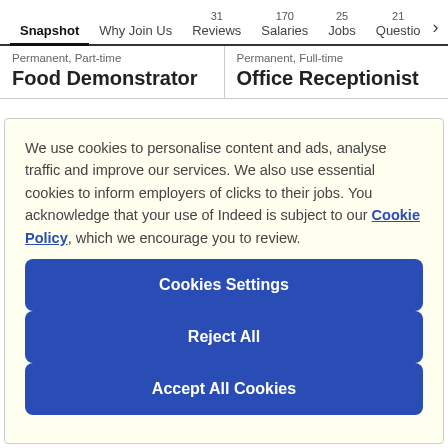Snapshot | Why Join Us | 31 Reviews | 170 Salaries | 25 Jobs | 21 Questions
Permanent, Part-time
Food Demonstrator
Permanent, Full-time
Office Receptionist
We use cookies to personalise content and ads, analyse traffic and improve our services. We also use essential cookies to inform employers of clicks to their jobs. You acknowledge that your use of Indeed is subject to our Cookie Policy, which we encourage you to review.
Cookies Settings
Reject All
Accept All Cookies